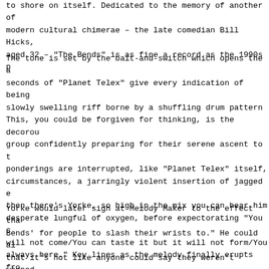to shore on itself. Dedicated to the memory of another of modern cultural chimerae – the late comedian Bill Hicks, aged 32 – "The Bends" is as fine a record as the 1990s p
The tone is set by the bait-and-switch which opens the a seconds of "Planet Telex" give every indication of being slowly swelling riff borne by a shuffling drum pattern This, you could be forgiven for thinking, is the decorou group confidently preparing for their serene ascent to t ponderings are interrupted, like "Planet Telex" itself, circumstances, a jarringly violent insertion of jagged e then there's Yorke, so high in the mix you can hear him desperate lungful of oxygen, before expectorating "You c will not come/You can taste it but it will not form/You always here." Key lines as the melody finally erupts fro arrangement of squabbling guitars and keyboards: "Everyt broken/Everyone is broken."
Yorke would later sigh at Melody Maker to the effect tha Bends' for people to slash their wrists to." He could al that it's not like anyone could say they weren't warned. the release of "The Bends", "My Iron Lung" had appeared mini-album of the same name. It was as cheerless a repor